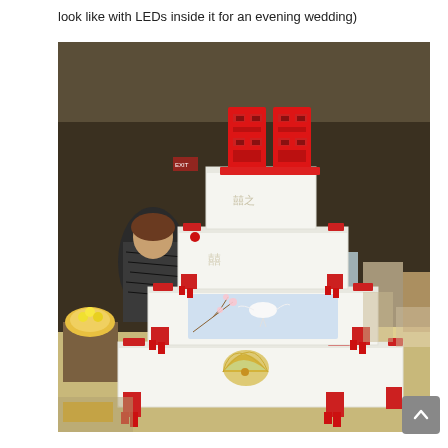look like with LEDs inside it for an evening wedding)
[Figure (photo): A large multi-tiered white wedding cake decorated in a Chinese style. The cake has red tassels and fabric decorations on each tier, red Chinese double happiness characters on top, white fondant with Asian motifs including cranes and cherry blossoms on a blue panel, and a golden fan decoration on the bottom tier. The cake is displayed in what appears to be a cake competition or exhibition hall with other cakes and people visible in the background.]